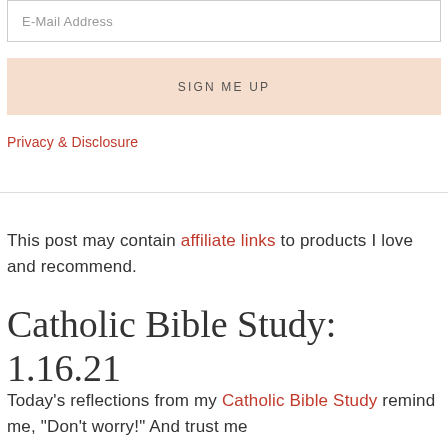E-Mail Address
SIGN ME UP
Privacy & Disclosure
This post may contain affiliate links to products I love and recommend.
Catholic Bible Study: 1.16.21
Today’s reflections from my Catholic Bible Study remind me, “Don’t worry!” And trust me